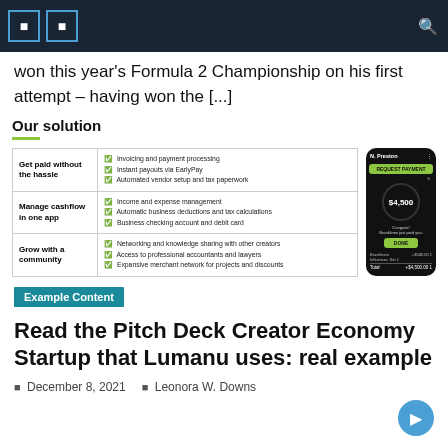Navigation bar with icons
won this year's Formula 2 Championship on his first attempt – having won the [...]
[Figure (infographic): Our solution infographic showing a table with three feature rows (Get paid without the hassle, Manage cashflow in one app, Grow with a community) alongside a mobile app screenshot showing a $4,500 payment request screen]
Example Content
Read the Pitch Deck Creator Economy Startup that Lumanu uses: real example
December 8, 2021   Leonora W. Downs